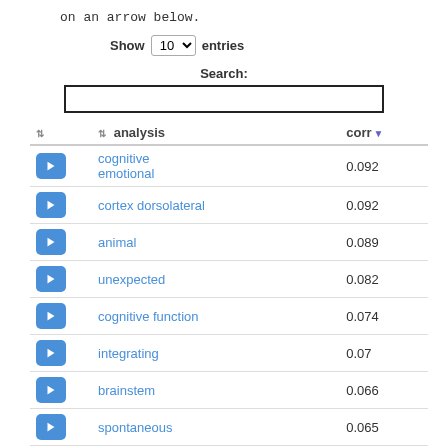on an arrow below.
Show 10 entries
Search:
|  | analysis | corr |
| --- | --- | --- |
| ← | cognitive emotional | 0.092 |
| ← | cortex dorsolateral | 0.092 |
| ← | animal | 0.089 |
| ← | unexpected | 0.082 |
| ← | cognitive function | 0.074 |
| ← | integrating | 0.07 |
| ← | brainstem | 0.066 |
| ← | spontaneous | 0.065 |
| ← | sleep | 0.062 |